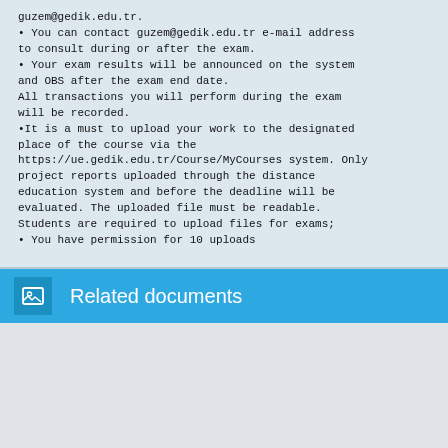guzem@gedik.edu.tr.
• You can contact guzem@gedik.edu.tr e-mail address to consult during or after the exam.
• Your exam results will be announced on the system and OBS after the exam end date.
All transactions you will perform during the exam will be recorded.
•It is a must to upload your work to the designated place of the course via the https://ue.gedik.edu.tr/Course/MyCourses system. Only project reports uploaded through the distance education system and before the deadline will be evaluated. The uploaded file must be readable.
Students are required to upload files for exams;
• You have permission for 10 uploads
Related documents